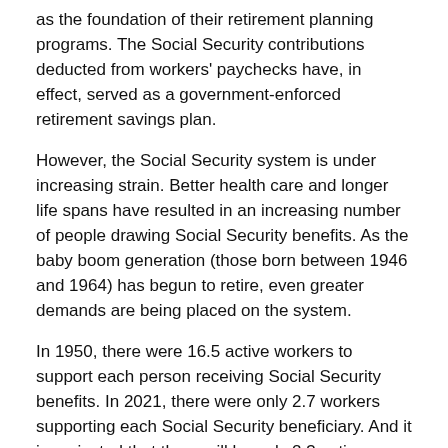as the foundation of their retirement planning programs. The Social Security contributions deducted from workers' paychecks have, in effect, served as a government-enforced retirement savings plan.
However, the Social Security system is under increasing strain. Better health care and longer life spans have resulted in an increasing number of people drawing Social Security benefits. As the baby boom generation (those born between 1946 and 1964) has begun to retire, even greater demands are being placed on the system.
In 1950, there were 16.5 active workers to support each person receiving Social Security benefits. In 2021, there were only 2.7 workers supporting each Social Security beneficiary. And it is projected that there will be only 2.3 active workers to support each Social Security beneficiary by 2035.¹
Although Social Security payments are typically adjusted for inflation, your own income and expenses